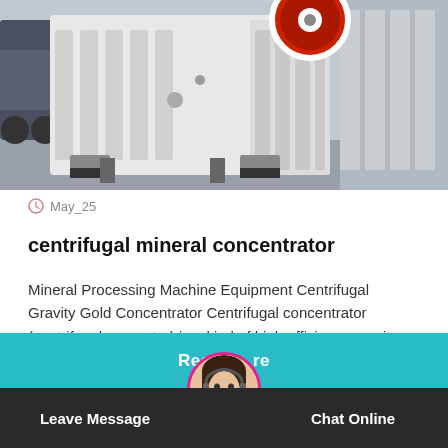[Figure (photo): Large industrial jaw crusher machine, white/grey color, photographed in a warehouse/factory setting. Red flywheel visible at top. Heavy machinery equipment on the factory floor.]
May_25
centrifugal mineral concentrator
Mineral Processing Machine Equipment Centrifugal Gravity Gold Concentrator Centrifugal concentrator (centrifugal separator) is a kind of high efficiency gravity concentrating equipment. High-s
Read more
Leave Message
Chat Online